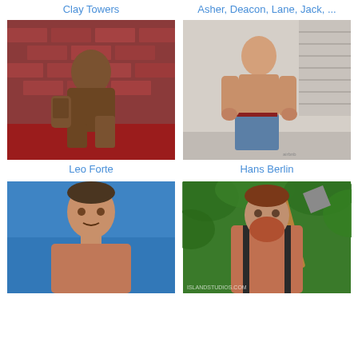Clay Towers
Asher, Deacon, Lane, Jack, ...
[Figure (photo): Muscular man with tattoos seated against brick wall]
[Figure (photo): Shirtless man in jeans standing against white wall]
Leo Forte
Hans Berlin
[Figure (photo): Man against blue background, shirtless]
[Figure (photo): Bearded man holding axe outdoors among trees]